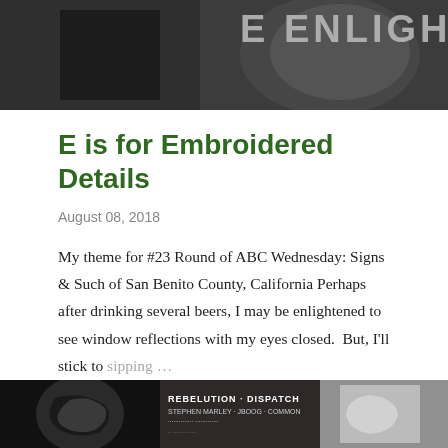[Figure (photo): Dark photo of a sign with text partially visible: 'E ENLIGHT' on what appears to be a storefront or window at night]
E is for Embroidered Details
August 08, 2018
My theme for #23 Round of ABC Wednesday: Signs & Such of San Benito County, California Perhaps after drinking several beers, I may be enlightened to see window reflections with my eyes closed.  But, I'll stick to sipping …
SHARE   18 COMMENTS   READ MORE
[Figure (photo): Three panel photo at bottom: left panel shows dark figure/sign, middle panel shows book spines including 'REBELUTION · DISPATCH', right panel shows a white sign/storefront]